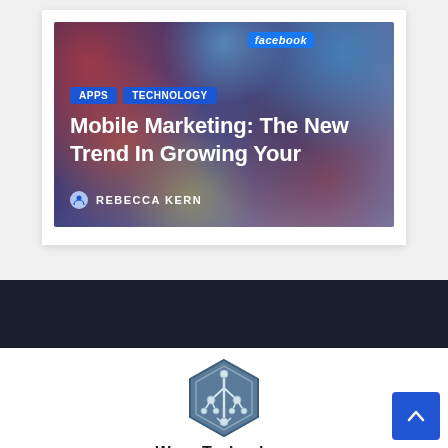[Figure (screenshot): Article card with blurred mobile marketing banner image showing colorful app icons and a Facebook smartphone. Tags say APPS and TECHNOLOGY. Title reads Mobile Marketing: The New Trend In Growing Your. Author shown as Rebecca Kern with person icon.]
Mobile Marketing: The New Trend In Growing Your
APPS   TECHNOLOGY
REBECCA KERN
[Figure (logo): Wave Technology Group hexagonal circuit board logo in slate blue, with company name Wave Technology Group below it.]
Wave Technology Group